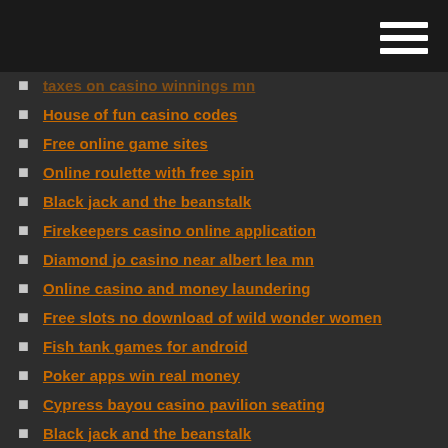[navigation bar with hamburger menu]
taxes on casino winnings mn
House of fun casino codes
Free online game sites
Online roulette with free spin
Black jack and the beanstalk
Firekeepers casino online application
Diamond jo casino near albert lea mn
Online casino and money laundering
Free slots no download of wild wonder women
Fish tank games for android
Poker apps win real money
Cypress bayou casino pavilion seating
Black jack and the beanstalk
Cypress bayou casino pavilion seating
Picture of texas holdem poker